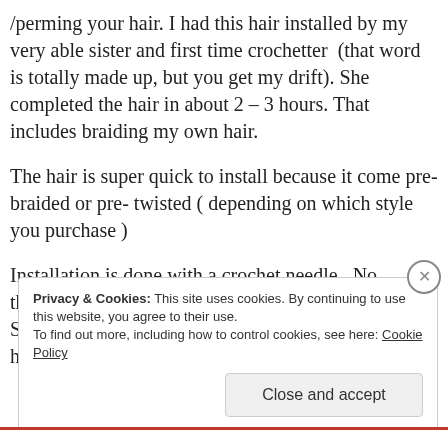/perming your hair. I had this hair installed by my very able sister and first time crochetter (that word is totally made up, but you get my drift). She completed the hair in about 2 – 3 hours. That includes braiding my own hair.
The hair is super quick to install because it come pre-braided or pre- twisted ( depending on which style you purchase )
Installation is done with a crochet needle. No threads, yes I said No THREADS needs.
So you CAN actually 🤩🤩🤩🤩 while doing your hair.
Privacy & Cookies: This site uses cookies. By continuing to use this website, you agree to their use.
To find out more, including how to control cookies, see here: Cookie Policy
Close and accept